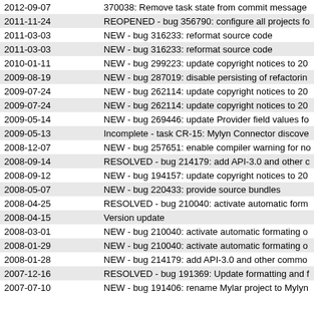| Date | Description |
| --- | --- |
| 2012-09-07 | 370038: Remove task state from commit message |
| 2011-11-24 | REOPENED - bug 356790: configure all projects fo |
| 2011-03-03 | NEW - bug 316233: reformat source code |
| 2011-03-03 | NEW - bug 316233: reformat source code |
| 2010-01-11 | NEW - bug 299223: update copyright notices to 20 |
| 2009-08-19 | NEW - bug 287019: disable persisting of refactorin |
| 2009-07-24 | NEW - bug 262114: update copyright notices to 20 |
| 2009-07-24 | NEW - bug 262114: update copyright notices to 20 |
| 2009-05-14 | NEW - bug 269446: update Provider field values fo |
| 2009-05-13 | Incomplete - task CR-15: Mylyn Connector discove |
| 2008-12-07 | NEW - bug 257651: enable compiler warning for no |
| 2008-09-14 | RESOLVED - bug 214179: add API-3.0 and other c |
| 2008-09-12 | NEW - bug 194157: update copyright notices to 20 |
| 2008-05-07 | NEW - bug 220433: provide source bundles |
| 2008-04-25 | RESOLVED - bug 210040: activate automatic form |
| 2008-04-15 | Version update |
| 2008-03-01 | NEW - bug 210040: activate automatic formating o |
| 2008-01-29 | NEW - bug 210040: activate automatic formating o |
| 2008-01-28 | NEW - bug 214179: add API-3.0 and other commo |
| 2007-12-16 | RESOLVED - bug 191369: Update formatting and f |
| 2007-07-10 | NEW - bug 191406: rename Mylar project to Mylyn |